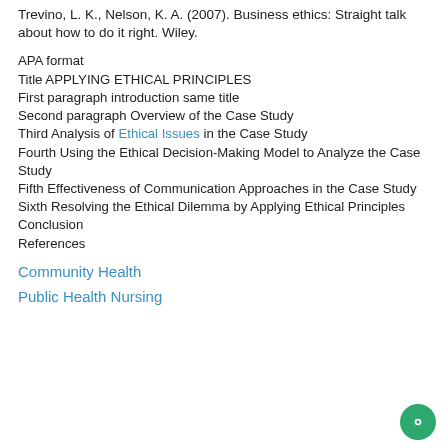Trevino, L. K., Nelson, K. A. (2007). Business ethics: Straight talk about how to do it right. Wiley.
APA format
Title APPLYING ETHICAL PRINCIPLES
First paragraph introduction same title
Second paragraph Overview of the Case Study
Third Analysis of Ethical Issues in the Case Study
Fourth Using the Ethical Decision-Making Model to Analyze the Case Study
Fifth Effectiveness of Communication Approaches in the Case Study
Sixth Resolving the Ethical Dilemma by Applying Ethical Principles
Conclusion
References
Community Health
Public Health Nursing